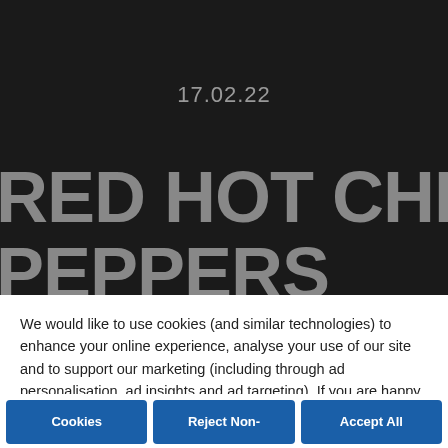17.02.22
RED HOT CHILI PEPPERS ANNOUNCE
We would like to use cookies (and similar technologies) to enhance your online experience, analyse your use of our site and to support our marketing (including through ad personalisation, ad insights and ad targeting). If you are happy for us to set cookies other than those strictly necessary for our site to work, please click “Accept All Cookies”. You can also manage your cookie preferences across our site now or later by clicking “Cookies Settings”. For more information, please read our  Cookies Policy
Cookies
Reject Non-
Accept All